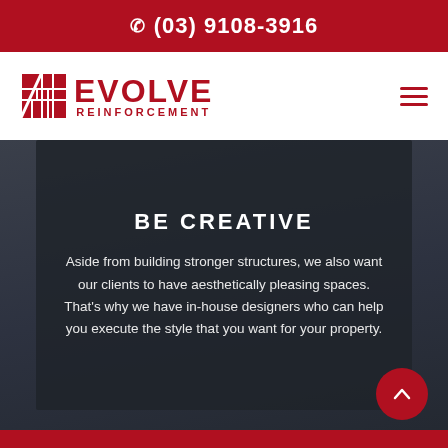(03) 9108-3916
[Figure (logo): Evolve Reinforcement logo with grid icon and red text]
BE CREATIVE
Aside from building stronger structures, we also want our clients to have aesthetically pleasing spaces. That's why we have in-house designers who can help you execute the style that you want for your property.